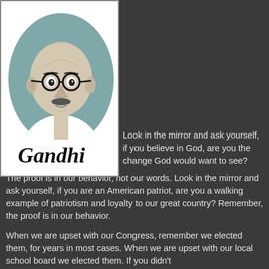[Figure (illustration): Black and white stylized illustration of Gandhi with round glasses on a teal/gray circular background, with 'Gandhi' written in handwritten script below]
Look in the mirror and ask yourself, if you believe in God, are you the change God would want to see? The proof is in our behavior, not our words. Look in the mirror and ask yourself, if you are an American patriot, are you a walking example of patriotism and loyalty to our great country? Remember, the proof is in our behavior.
When we are upset with our Congress, remember we elected them, for years in most cases. When we are upset with our local school board we elected them. If you didn't